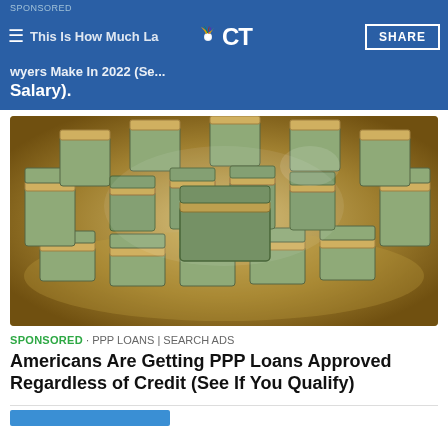SPONSORED · This Is How Much Lawyers Make In 2022 (See Salary). NBC CT
[Figure (photo): Large circular arrangement of stacked bundles of US dollar bills, viewed from above, arranged in concentric rings on a reflective surface.]
SPONSORED · PPP LOANS | SEARCH ADS
Americans Are Getting PPP Loans Approved Regardless of Credit (See If You Qualify)